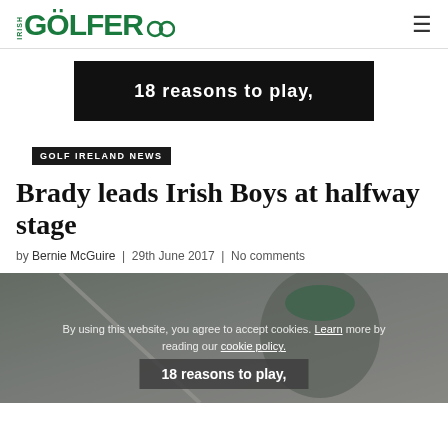IRISH GOLFER
[Figure (infographic): Advertisement banner: black background with white text '18 reasons to play.']
GOLF IRELAND NEWS
Brady leads Irish Boys at halfway stage
by Bernie McGuire | 29th June 2017 | No comments
[Figure (photo): Golfer swinging a golf club, wearing a green cap, blurred background. Cookie consent overlay and ad banner overlay visible.]